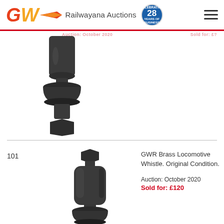GW Railwayana Auctions — 28 Years
[Figure (photo): Partial view of a GWR brass locomotive whistle (previous lot), showing the lower half including the cup-shaped bell and hexagonal base fitting, dark oxidized brass.]
101
[Figure (photo): GWR Brass Locomotive Whistle in original condition. Shows the cylindrical body with hexagonal top fitting and bottom bell, dark oxidized brass finish.]
GWR Brass Locomotive Whistle. Original Condition.

Auction: October 2020    Sold for: £120